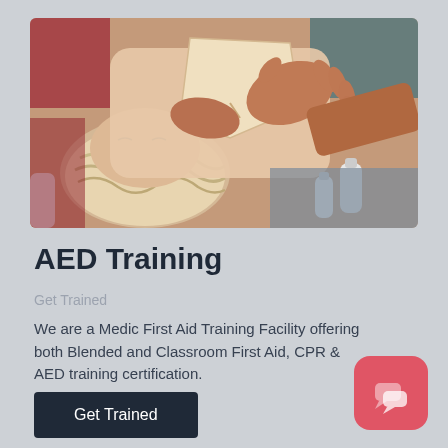[Figure (photo): A CPR/AED training scene showing hands placing defibrillator pads on a CPR mannequin (training dummy), with medical gel bottles visible nearby on a light background.]
AED Training
Get Trained
We are a Medic First Aid Training Facility offering both Blended and Classroom First Aid, CPR & AED training certification.
Get Trained
[Figure (illustration): Red rounded square chat/message icon in the bottom right corner.]